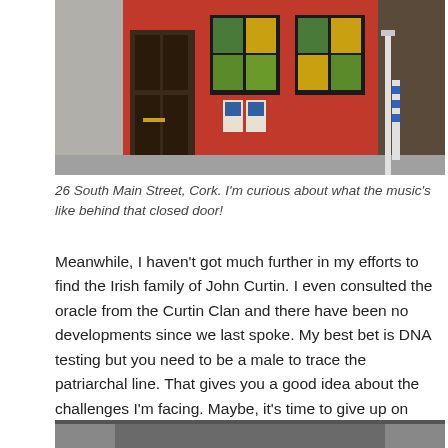[Figure (photo): Photograph of a red-painted building facade at 26 South Main Street, Cork, with dark wooden doors and windows featuring green and yellow posters/signage, viewed from the pavement.]
26 South Main Street, Cork. I'm curious about what the music's like behind that closed door!
Meanwhile, I haven't got much further in my efforts to find the Irish family of John Curtin. I even consulted the oracle from the Curtin Clan and there have been no developments since we last spoke. My best bet is DNA testing but you need to be a male to trace the patriarchal line. That gives you a good idea about the challenges I'm facing. Maybe, it's time to give up on this lot and take up cryptic crosswords instead!!!
[Figure (photo): Partial photograph visible at the bottom of the page, cropped.]